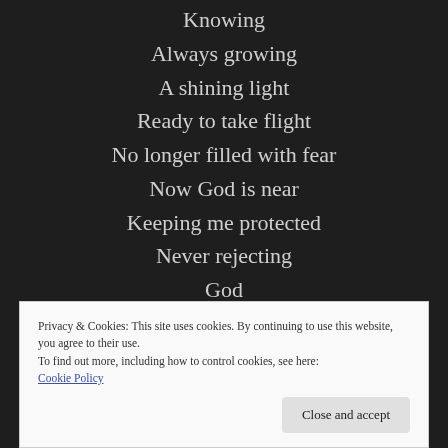Knowing
Always growing
A shining light
Ready to take flight
No longer filled with fear
Now God is near
Keeping me protected
Never rejecting
God
Privacy & Cookies: This site uses cookies. By continuing to use this website, you agree to their use.
To find out more, including how to control cookies, see here:
Cookie Policy
Close and accept